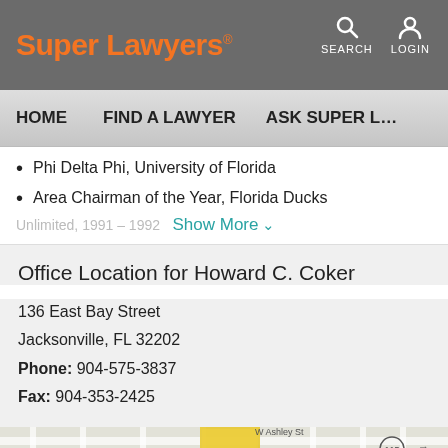Super Lawyers — SEARCH LOGIN — HOME | FIND A LAWYER | ASK SUPER L...
Phi Delta Phi, University of Florida
Area Chairman of the Year, Florida Ducks
Show More
Office Location for Howard C. Coker
136 East Bay Street
Jacksonville, FL 32202
Phone: 904-575-3837
Fax: 904-353-2425
[Figure (map): Street map of downtown Jacksonville FL showing James Weldon Johnson Park, MOCA (Museum Of Contemporary Art), W Ashley St, and route 115]